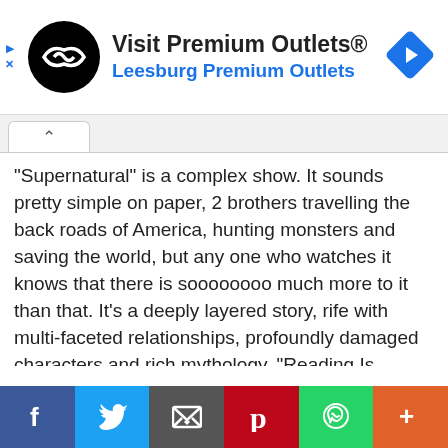[Figure (screenshot): Advertisement banner for Premium Outlets with black circular logo, bold text 'Visit Premium Outlets®', blue text 'Leesburg Premium Outlets', and blue navigation diamond icon on the right.]
"Supernatural" is a complex show. It sounds pretty simple on paper, 2 brothers travelling the back roads of America, hunting monsters and saving the world, but any one who watches it knows that there is soooooooo much more to it than that. It's a deeply layered story, rife with multi-faceted relationships, profoundly damaged characters and rich mythology. "Reading Is Fundamental"◊ is a perfect example of the kind of show Supernatural can be. Layered,
[Figure (infographic): Social sharing bar at bottom with Facebook (blue), Twitter (light blue), Email (dark gray), Pinterest (red), WhatsApp (green), and More (orange) buttons with their respective icons.]